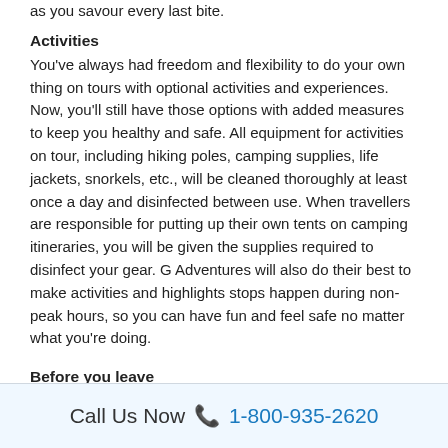as you savour every last bite.
Activities
You've always had freedom and flexibility to do your own thing on tours with optional activities and experiences. Now, you'll still have those options with added measures to keep you healthy and safe. All equipment for activities on tour, including hiking poles, camping supplies, life jackets, snorkels, etc., will be cleaned thoroughly at least once a day and disinfected between use. When travellers are responsible for putting up their own tents on camping itineraries, you will be given the supplies required to disinfect your gear. G Adventures will also do their best to make activities and highlights stops happen during non-peak hours, so you can have fun and feel safe no matter what you're doing.
Before you leave
Call Us Now 📞 1-800-935-2620